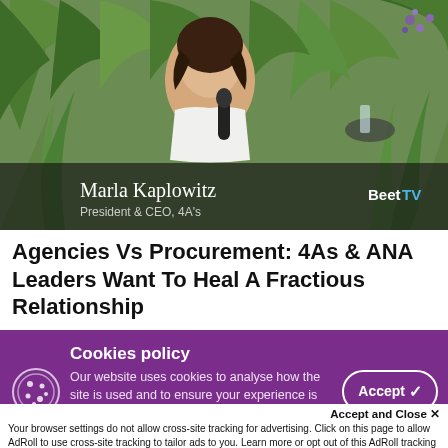[Figure (photo): Photo of Marla Kaplowitz, President & CEO of 4A's, holding a microphone outdoors with tropical plants in the background. BeetTV logo visible in bottom right of image.]
Agencies Vs Procurement: 4As & ANA Leaders Want To Heal A Fractious Relationship
Cookies policy
Our website uses cookies to analyse how the site is used and to ensure your experience is
Accept and Close ×
Your browser settings do not allow cross-site tracking for advertising. Click on this page to allow AdRoll to use cross-site tracking to tailor ads to you. Learn more or opt out of this AdRoll tracking by clicking here. This message only appears once.